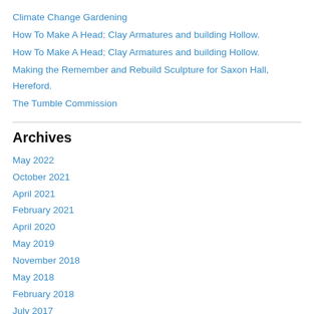Climate Change Gardening
How To Make A Head; Clay Armatures and building Hollow.
How To Make A Head; Clay Armatures and building Hollow.
Making the Remember and Rebuild Sculpture for Saxon Hall, Hereford.
The Tumble Commission
Archives
May 2022
October 2021
April 2021
February 2021
April 2020
May 2019
November 2018
May 2018
February 2018
July 2017
May 2017